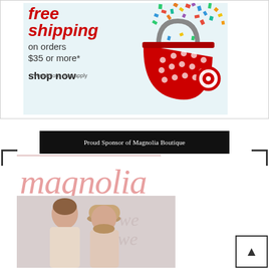[Figure (infographic): Target advertisement banner: red shopping basket with confetti spilling out on light blue background. Text reads 'free shipping on orders $35 or more* shop now *restrictions may apply']
Proud Sponsor of Magnolia Boutique
[Figure (logo): Magnolia Boutique logo in cursive/script pink lettering with 'BOUTIQUE' in spaced caps and 'Since 2013' beneath, with a horizontal line above]
[Figure (photo): Photo of two women standing in front of a wall with handwritten text, one wearing a wide-brimmed hat]